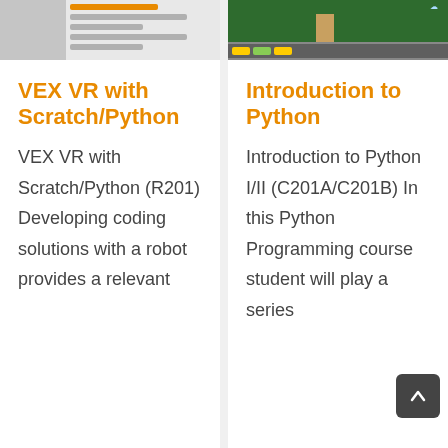[Figure (screenshot): Screenshot of VEX VR Scratch/Python coding interface with sidebar and code editor]
VEX VR with Scratch/Python
VEX VR with Scratch/Python (R201) Developing coding solutions with a robot provides a relevant
[Figure (screenshot): Screenshot of Introduction to Python VEX VR game environment with green background and road scene]
Introduction to Python
Introduction to Python I/II (C201A/C201B) In this Python Programming course student will play a series